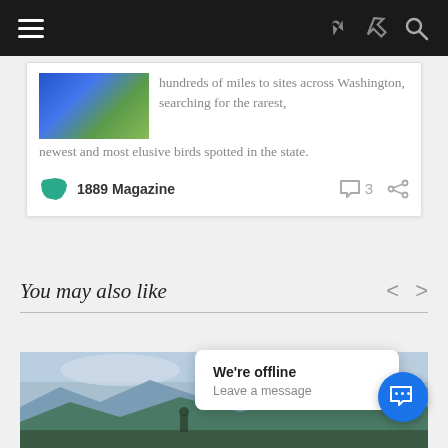Navigation bar with hamburger menu, share icon, and search icon
hundreds of miles to sites across Washington, searching for the rarest, newest and most elusive birds spotted in the state.
1889 Magazine
You may also like
[Figure (photo): Outdoor landscape photo showing mountainous terrain with cloudy sky]
We're offline
Leave a message